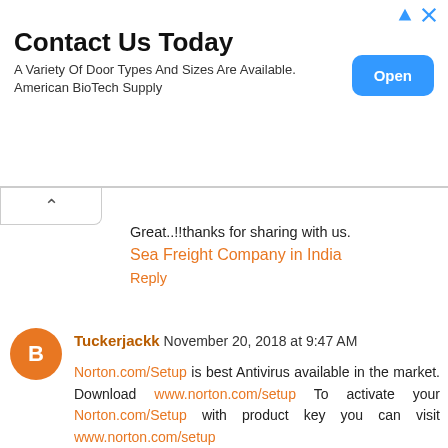[Figure (screenshot): Advertisement banner for American BioTech Supply with 'Contact Us Today' heading and 'Open' button]
Great..!!thanks for sharing with us.
Sea Freight Company in India
Reply
Tuckerjackk November 20, 2018 at 9:47 AM
Norton.com/Setup is best Antivirus available in the market. Download www.norton.com/setup To activate your Norton.com/Setup with product key you can visit www.norton.com/setup
Office.com/Setup is a product of MS Office.com/Setup. Get www.office.com/Setup support if you face problem to activate www.office.com/Setup or install Microsoft office product. Install Office Setup with Product Key.